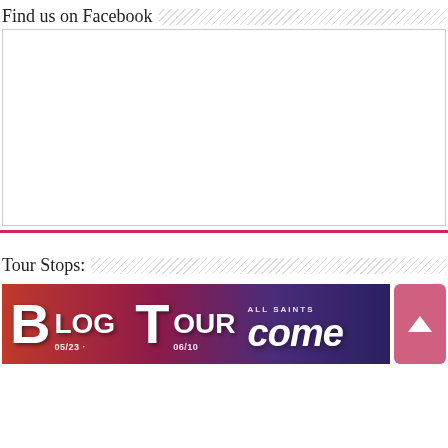Find us on Facebook
[Figure (other): Empty white Facebook widget placeholder box with light gray border]
Tour Stops:
[Figure (illustration): Blog Tour banner image reading BLOG TOUR 05/23 - 06/10 ALL SAINTS come, with red to purple gradient background and a pink scroll-to-top button]